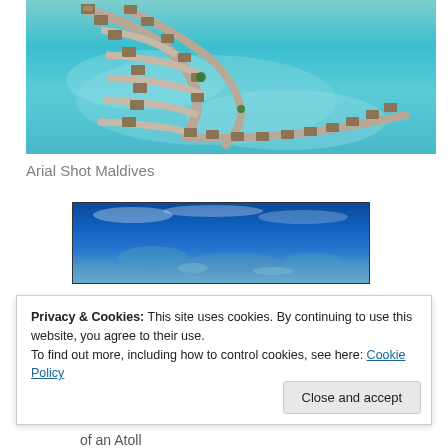[Figure (photo): Aerial shot of overwater bungalows connected by curved walkways over turquoise lagoon in the Maldives]
Arial Shot Maldives
[Figure (photo): Aerial view of deep blue ocean with shallow reef patches, partial view of an atoll]
Privacy & Cookies: This site uses cookies. By continuing to use this website, you agree to their use.
To find out more, including how to control cookies, see here: Cookie Policy
Close and accept
of an Atoll